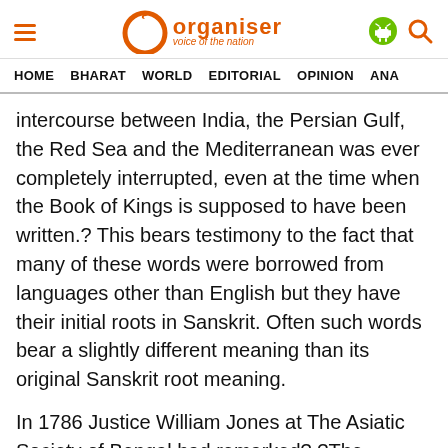Organiser — voice of the nation
HOME   BHARAT   WORLD   EDITORIAL   OPINION   ANA
intercourse between India, the Persian Gulf, the Red Sea and the Mediterranean was ever completely interrupted, even at the time when the Book of Kings is supposed to have been written.? This bears testimony to the fact that many of these words were borrowed from languages other than English but they have their initial roots in Sanskrit. Often such words bear a slightly different meaning than its original Sanskrit root meaning.
In 1786 Justice William Jones at The Asiatic Society of Bengal had remarked? ?The Sanskrit language, whatever may be its antiquity, is of a wonderful